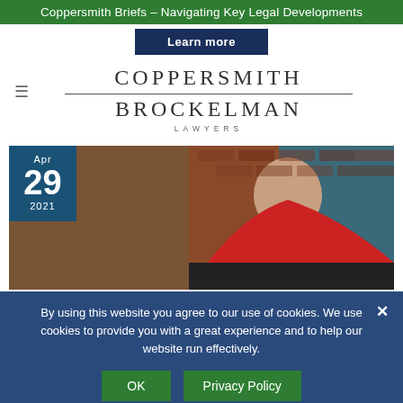Coppersmith Briefs – Navigating Key Legal Developments
Learn more
COPPERSMITH
BROCKELMAN
LAWYERS
[Figure (photo): Professional headshot of a woman in a red blazer smiling, with a brick wall background, overlaid with a date badge showing Apr 29 2021]
By using this website you agree to our use of cookies. We use cookies to provide you with a great experience and to help our website run effectively.
OK
Privacy Policy